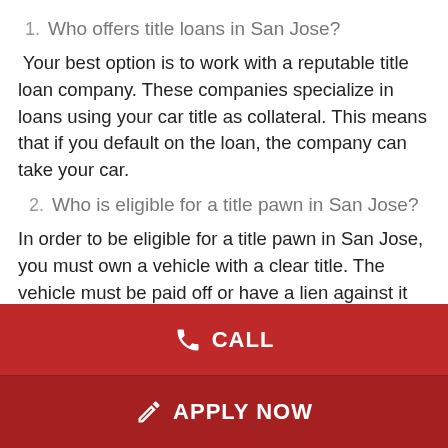1. Who offers title loans in San Jose?
Your best option is to work with a reputable title loan company. These companies specialize in loans using your car title as collateral. This means that if you default on the loan, the company can take your car.
2. Who is eligible for a title pawn in San Jose?
In order to be eligible for a title pawn in San Jose, you must own a vehicle with a clear title. The vehicle must be paid off or have a lien against it that is less than the value of the loan. You must also have a source of
CALL
APPLY NOW